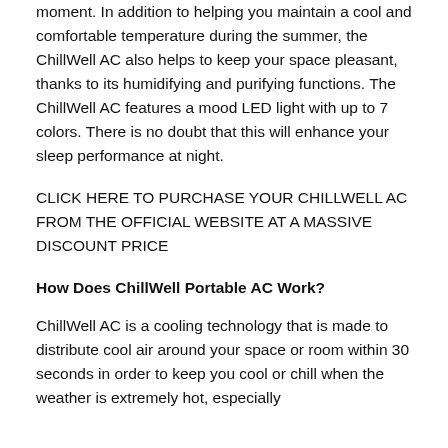moment. In addition to helping you maintain a cool and comfortable temperature during the summer, the ChillWell AC also helps to keep your space pleasant, thanks to its humidifying and purifying functions. The ChillWell AC features a mood LED light with up to 7 colors. There is no doubt that this will enhance your sleep performance at night.
CLICK HERE TO PURCHASE YOUR CHILLWELL AC FROM THE OFFICIAL WEBSITE AT A MASSIVE DISCOUNT PRICE
How Does ChillWell Portable AC Work?
ChillWell AC is a cooling technology that is made to distribute cool air around your space or room within 30 seconds in order to keep you cool or chill when the weather is extremely hot, especially